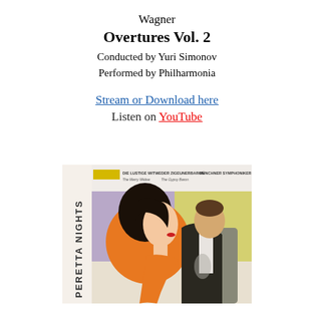Wagner
Overtures Vol. 2
Conducted by Yuri Simonov
Performed by Philharmonia
Stream or Download here
Listen on YouTube
[Figure (photo): Album cover for 'Peretta Nights' showing a stylized illustration of a woman in profile with orange hair and a man in a tuxedo, with text 'DIE LUSTIGE WITWE / The Merry Widow', 'DER ZIGEUNERBARON / The Gypsy Baron', 'MÜNCHNER SYMPHONIKER UND CHOR']